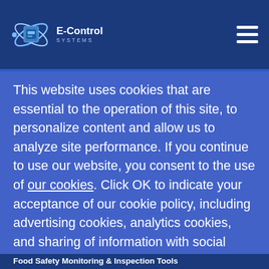[Figure (logo): E-Control Systems logo with orbital graphic and text]
This website uses cookies that are essential to the operation of this site, to personalize content and allow us to analyze site performance. If you continue to use our website, you consent to the use of our cookies. Click OK to indicate your acceptance of our cookie policy, including advertising cookies, analytics cookies, and sharing of information with social media, advertising and analytics partners.
Ok
Food Safety Monitoring & Inspection Tools